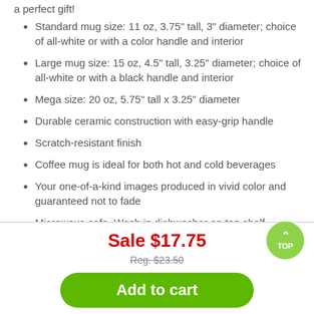a perfect gift!
Standard mug size: 11 oz, 3.75" tall, 3" diameter; choice of all-white or with a color handle and interior
Large mug size: 15 oz, 4.5" tall, 3.25" diameter; choice of all-white or with a black handle and interior
Mega size: 20 oz, 5.75" tall x 3.25" diameter
Durable ceramic construction with easy-grip handle
Scratch-resistant finish
Coffee mug is ideal for both hot and cold beverages
Your one-of-a-kind images produced in vivid color and guaranteed not to fade
Microwave safe. Wash in dishwasher on top shelf.
Imported for final manufacture locally
Sale $17.75
Reg. $23.50
Add to cart